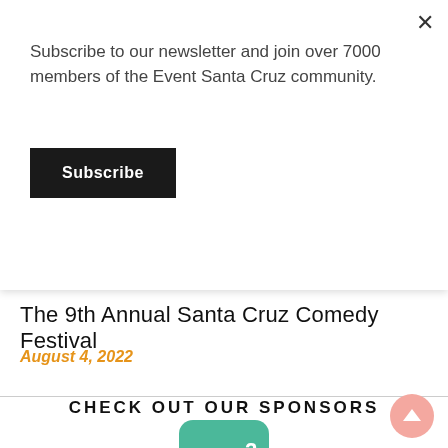Subscribe to our newsletter and join over 7000 members of the Event Santa Cruz community.
Subscribe
August 4, 2022
The 9th Annual Santa Cruz Comedy Festival
August 4, 2022
CHECK OUT OUR SPONSORS
[Figure (logo): m² sponsor logo — teal/green rounded square with stylized cursive m and superscript 2]